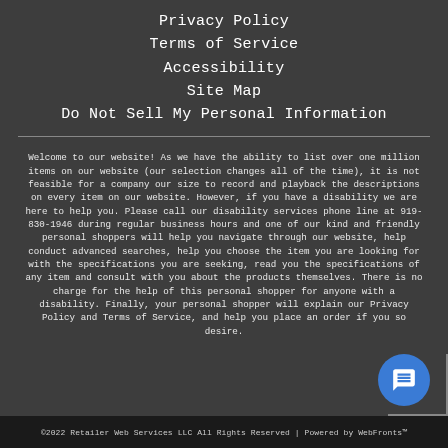Privacy Policy
Terms of Service
Accessibility
Site Map
Do Not Sell My Personal Information
Welcome to our website! As we have the ability to list over one million items on our website (our selection changes all of the time), it is not feasible for a company our size to record and playback the descriptions on every item on our website. However, if you have a disability we are here to help you. Please call our disability services phone line at 919-830-1946 during regular business hours and one of our kind and friendly personal shoppers will help you navigate through our website, help conduct advanced searches, help you choose the item you are looking for with the specifications you are seeking, read you the specifications of any item and consult with you about the products themselves. There is no charge for the help of this personal shopper for anyone with a disability. Finally, your personal shopper will explain our Privacy Policy and Terms of Service, and help you place an order if you so desire.
©2022 Retailer Web Services LLC All Rights Reserved | Powered by WebFronts™